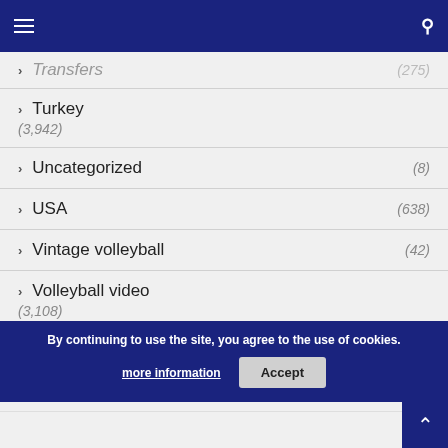Navigation menu with hamburger icon and search icon
Transfers (275)
Turkey (3,942)
Uncategorized (8)
USA (638)
Vintage volleyball (42)
Volleyball video (3,108)
WoV Quiz (33)
WoV Tips (?)
By continuing to use the site, you agree to the use of cookies. more information Accept